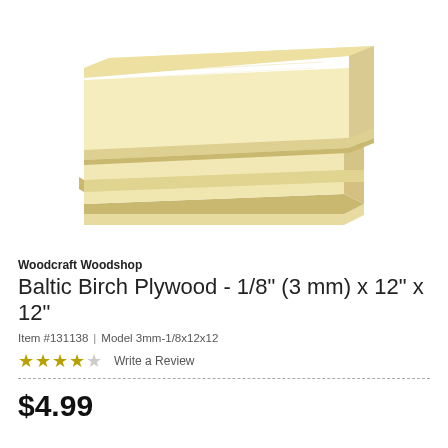[Figure (photo): Stack of three Baltic Birch plywood sheets viewed from a perspective angle, showing light tan/cream colored wood grain on top surface and layered edges on the sides. White background.]
Woodcraft Woodshop
Baltic Birch Plywood - 1/8" (3 mm) x 12" x 12"
Item #131138 | Model 3mm-1/8x12x12
★★★★☆  Write a Review
$4.99